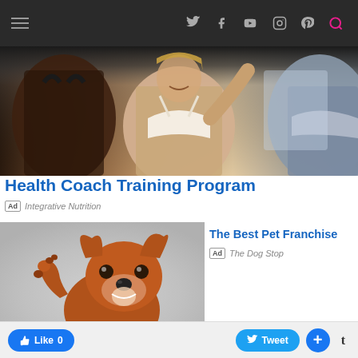Navigation bar with hamburger menu, Twitter, Facebook, YouTube, Instagram, Pinterest icons, and search
[Figure (photo): Hero banner showing three fitness women in sports bras with toned midsections]
Health Coach Training Program
Ad  Integrative Nutrition
[Figure (photo): Advertisement image of a brown dog raising its paw against a light gray background]
The Best Pet Franchise
Ad  The Dog Stop
[Figure (photo): Advertisement with blue background showing product cards/brochures]
Manage Your HOA 100% Online
Like 0   Tweet   +   t